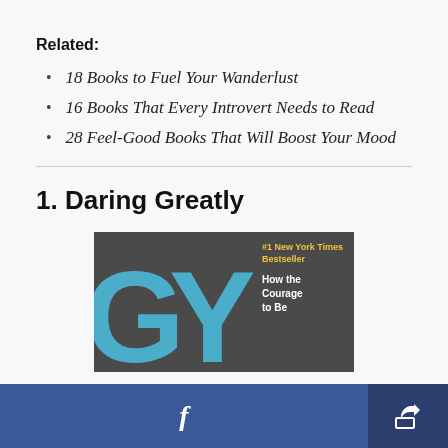Related:
18 Books to Fuel Your Wanderlust
16 Books That Every Introvert Needs to Read
28 Feel-Good Books That Will Boost Your Mood
1. Daring Greatly
[Figure (photo): Book cover of 'Daring Greatly' showing large blue letters 'GY' on a dark background with text '#1 New York Times Bestseller' in yellow and 'How the Courage to Be' in white on the right side]